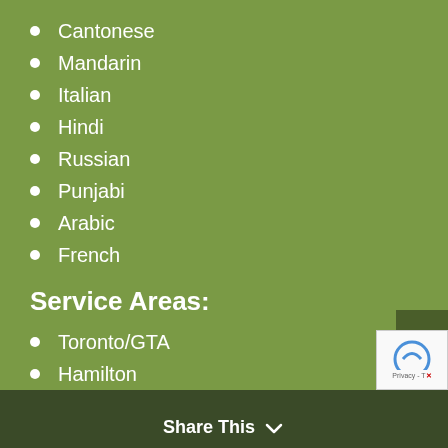Cantonese
Mandarin
Italian
Hindi
Russian
Punjabi
Arabic
French
Service Areas:
Toronto/GTA
Hamilton
Barrie
Owen Sound
Kitchener-Waterloo
London
Sudbury
Share This